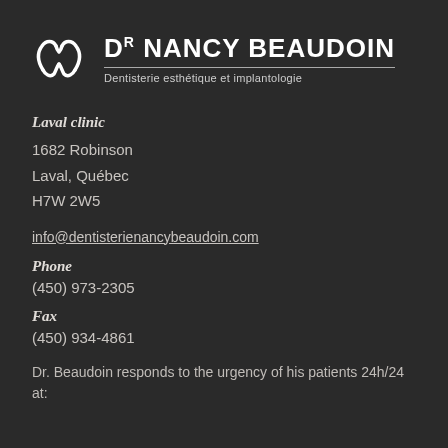[Figure (logo): Dr Nancy Beaudoin dental clinic logo with stylized tooth/heart icon in white, clinic name in bold white caps, and subtitle 'Dentisterie esthétique et implantologie']
Laval clinic
1682 Robinson
Laval, Québec
H7W 2W5
info@dentisterienancybeaudoin.com
Phone
(450) 973-2305
Fax
(450) 934-4861
Dr. Beaudoin responds to the urgency of his patients 24h/24 at: